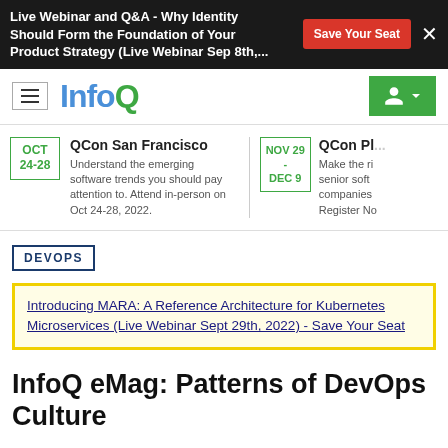Live Webinar and Q&A - Why Identity Should Form the Foundation of Your Product Strategy (Live Webinar Sep 8th,... Save Your Seat
[Figure (logo): InfoQ logo with hamburger nav, green user account icon]
QCon San Francisco
Understand the emerging software trends you should pay attention to. Attend in-person on Oct 24-28, 2022.
OCT 24-28
QCon Pl...
NOV 29 - DEC 9
Make the ri... senior soft... companies... Register No...
DEVOPS
Introducing MARA: A Reference Architecture for Kubernetes Microservices (Live Webinar Sept 29th, 2022) - Save Your Seat
InfoQ eMag: Patterns of DevOps Culture
LIKE